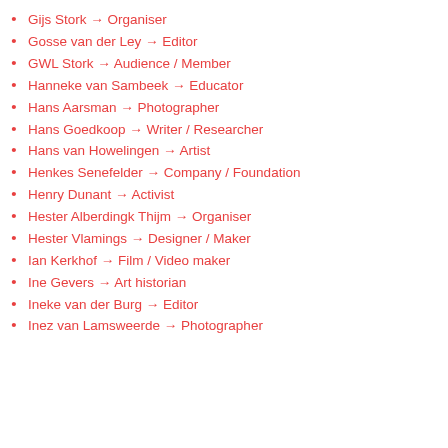Gijs Stork → Organiser
Gosse van der Ley → Editor
GWL Stork → Audience / Member
Hanneke van Sambeek → Educator
Hans Aarsman → Photographer
Hans Goedkoop → Writer / Researcher
Hans van Howelingen → Artist
Henkes Senefelder → Company / Foundation
Henry Dunant → Activist
Hester Alberdingk Thijm → Organiser
Hester Vlamings → Designer / Maker
Ian Kerkhof → Film / Video maker
Ine Gevers → Art historian
Ineke van der Burg → Editor
Inez van Lamsweerde → Photographer